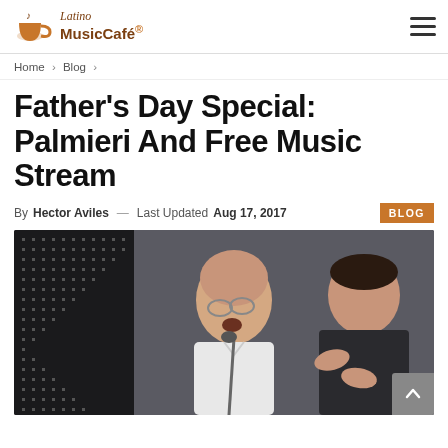Latino MusicCafé
Home > Blog >
Father's Day Special: Palmieri And Free Music Stream
By Hector Aviles — Last Updated Aug 17, 2017  BLOG
[Figure (photo): Two men at a performance event; an older bespectacled man in white shirt singing into a microphone on the left, and a younger man in dark jacket clapping on the right, against a dark dotted background.]